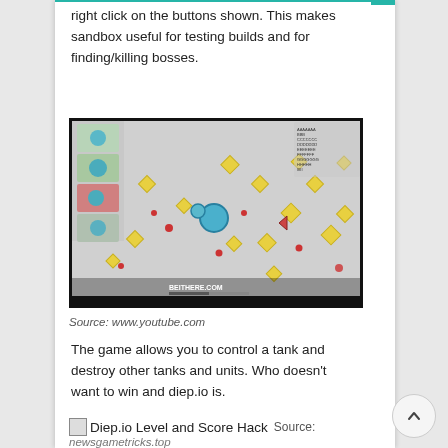right click on the buttons shown. This makes sandbox useful for testing builds and for finding/killing bosses.
[Figure (screenshot): Screenshot of a diep.io game sandbox showing a tank game with colored tanks, yellow diamond shapes, and red dots on a gray background. UI panel visible on the left with colored squares. Watermark 'BEITHERE.COM' visible at bottom center.]
Source: www.youtube.com
The game allows you to control a tank and destroy other tanks and units. Who doesn't want to win and diep.io is.
[Figure (other): Broken image placeholder followed by text 'Diep.io Level and Score Hack' with inline source label]
Source:
newsgametricks.top